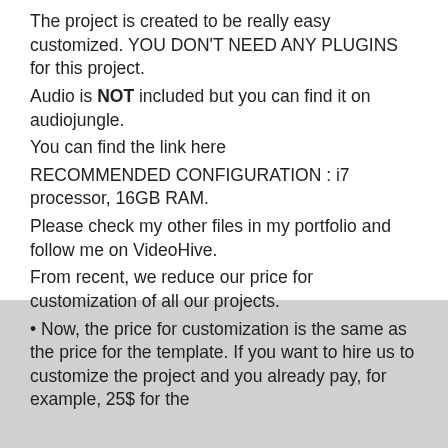The project is created to be really easy customized. YOU DON'T NEED ANY PLUGINS for this project.
Audio is NOT included but you can find it on audiojungle.
You can find the link here
RECOMMENDED CONFIGURATION : i7 processor, 16GB RAM.
Please check my other files in my portfolio and follow me on VideoHive.
From recent, we reduce our price for customization of all our projects.
• Now, the price for customization is the same as the price for the template. If you want to hire us to customize the project and you already pay, for example, 25$ for the